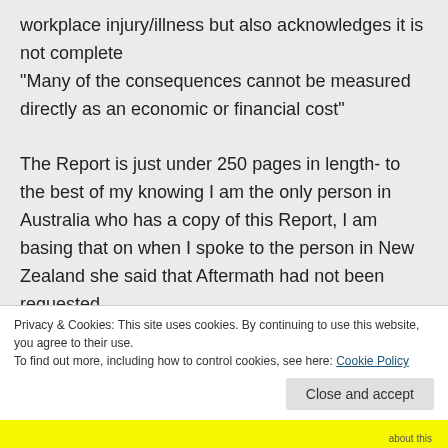workplace injury/illness but also acknowledges it is not complete
“Many of the consequences cannot be measured directly as an economic or financial cost”

The Report is just under 250 pages in length- to the best of my knowing I am the only person in Australia who has a copy of this Report, I am basing that on when I spoke to the person in New Zealand she said that Aftermath had not been requested
Privacy & Cookies: This site uses cookies. By continuing to use this website, you agree to their use.
To find out more, including how to control cookies, see here: Cookie Policy